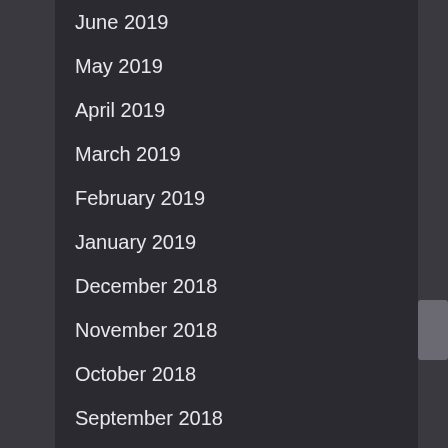June 2019
May 2019
April 2019
March 2019
February 2019
January 2019
December 2018
November 2018
October 2018
September 2018
August 2018
July 2018